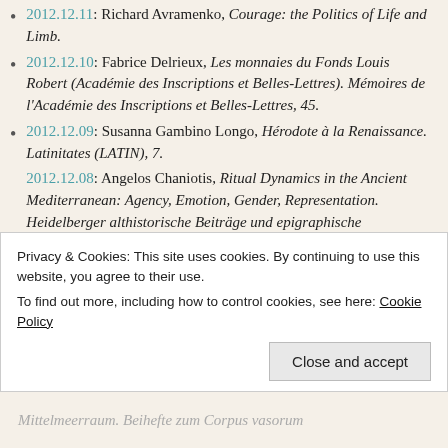2012.12.11: Richard Avramenko, Courage: the Politics of Life and Limb.
2012.12.10: Fabrice Delrieux, Les monnaies du Fonds Louis Robert (Académie des Inscriptions et Belles-Lettres). Mémoires de l'Académie des Inscriptions et Belles-Lettres, 45.
2012.12.09: Susanna Gambino Longo, Hérodote à la Renaissance. Latinitates (LATIN), 7.
2012.12.08: Angelos Chaniotis, Ritual Dynamics in the Ancient Mediterranean: Agency, Emotion, Gender, Representation. Heidelberger althistorische Beiträge und epigraphische
Privacy & Cookies: This site uses cookies. By continuing to use this website, you agree to their use. To find out more, including how to control cookies, see here: Cookie Policy
Mittelmeerraum. Beihefte zum Corpus vasorum